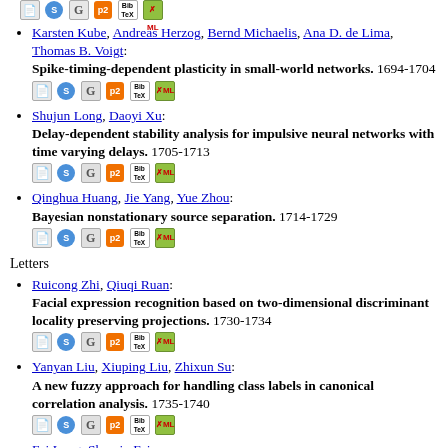Karsten Kube, Andreas Herzog, Bernd Michaelis, Ana D. de Lima, Thomas B. Voigt: Spike-timing-dependent plasticity in small-world networks. 1694-1704
Shujun Long, Daoyi Xu: Delay-dependent stability analysis for impulsive neural networks with time varying delays. 1705-1713
Qinghua Huang, Jie Yang, Yue Zhou: Bayesian nonstationary source separation. 1714-1729
Letters
Ruicong Zhi, Qiuqi Ruan: Facial expression recognition based on two-dimensional discriminant locality preserving projections. 1730-1734
Yanyan Liu, Xiuping Liu, Zhixun Su: A new fuzzy approach for handling class labels in canonical correlation analysis. 1735-1740
Fei Long, Shumin Fei: